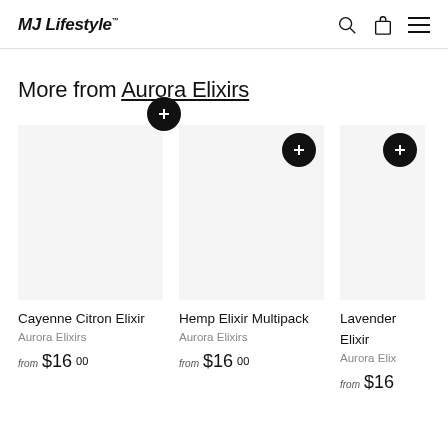MJ Lifestyle
More from Aurora Elixirs
Cayenne Citron Elixir
Aurora Elixirs
from $16.00
Hemp Elixir Multipack
Aurora Elixirs
from $16.00
Lavender Elixir
Aurora Elixirs
from $16